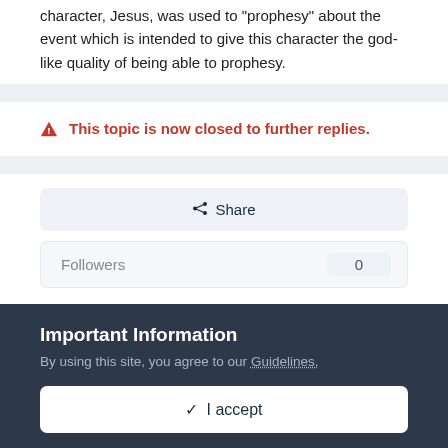character, Jesus, was used to "prophesy" about the event which is intended to give this character the god-like quality of being able to prophesy.
⚠ This topic is now closed to further replies.
Share
Followers  0
Important Information
By using this site, you agree to our Guidelines.
✓ I accept